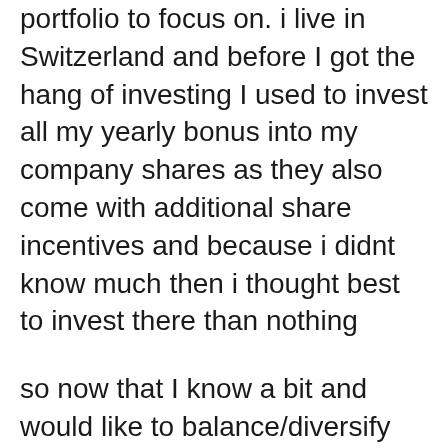portfolio to focus on. i live in Switzerland and before I got the hang of investing I used to invest all my yearly bonus into my company shares as they also come with additional share incentives and because i didnt know much then i thought best to invest there than nothing
so now that I know a bit and would like to balance/diversify my investing. would it make sense to then keep my company shares as my home bias and then invest the rest of my savings in Vanguard Total World (VT)? when i look at my current numbers 30% of my savings are in my